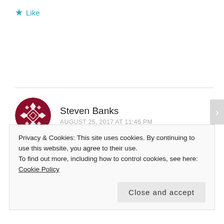★ Like
Steven Banks
AUGUST 25, 2017 AT 11:46 PM
Amen, not forgotten Jon C.
Privacy & Cookies: This site uses cookies. By continuing to use this website, you agree to their use.
To find out more, including how to control cookies, see here: Cookie Policy
Close and accept